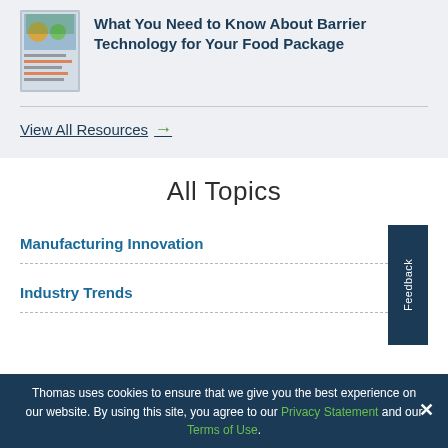What You Need to Know About Barrier Technology for Your Food Package
View All Resources →
All Topics
Manufacturing Innovation
Industry Trends
Thomas uses cookies to ensure that we give you the best experience on our website. By using this site, you agree to our Privacy Statement and our Terms of Use.